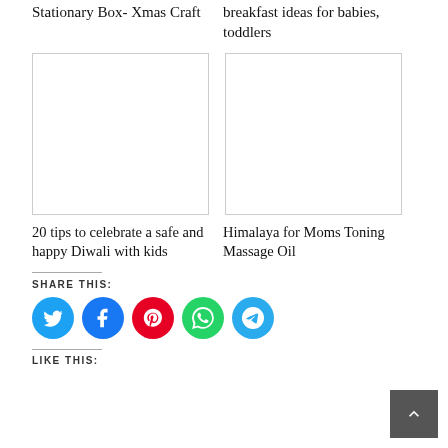Stationary Box- Xmas Craft
breakfast ideas for babies, toddlers
[Figure (photo): Blank thumbnail image placeholder (left)]
[Figure (photo): Blank thumbnail image placeholder (right)]
20 tips to celebrate a safe and happy Diwali with kids
Himalaya for Moms Toning Massage Oil
SHARE THIS:
[Figure (infographic): Social share icons: Twitter (blue), Facebook (blue), Pinterest (red), WhatsApp (green), Telegram (light blue)]
LIKE THIS: